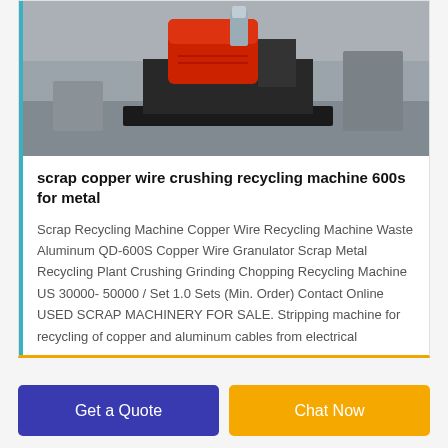[Figure (photo): Photo of a scrap copper wire crushing recycling machine with a red motor/housing on a black base, in an industrial setting]
scrap copper wire crushing recycling machine 600s for metal
Scrap Recycling Machine Copper Wire Recycling Machine Waste Aluminum QD-600S Copper Wire Granulator Scrap Metal Recycling Plant Crushing Grinding Chopping Recycling Machine US 30000- 50000 / Set 1.0 Sets (Min. Order) Contact Online USED SCRAP MACHINERY FOR SALE. Stripping machine for recycling of copper and aluminum cables from electrical
Get a Quote
Chat Now